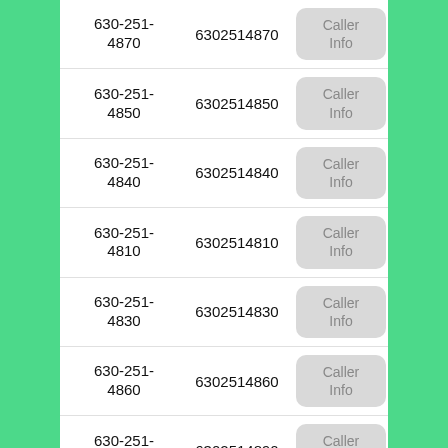| Phone | Number | Action |
| --- | --- | --- |
| 630-251-4870 | 6302514870 | Caller Info |
| 630-251-4850 | 6302514850 | Caller Info |
| 630-251-4840 | 6302514840 | Caller Info |
| 630-251-4810 | 6302514810 | Caller Info |
| 630-251-4830 | 6302514830 | Caller Info |
| 630-251-4860 | 6302514860 | Caller Info |
| 630-251-4890 | 6302514890 | Caller Info |
| 630-251-4871 | 6302514871 | Caller Info |